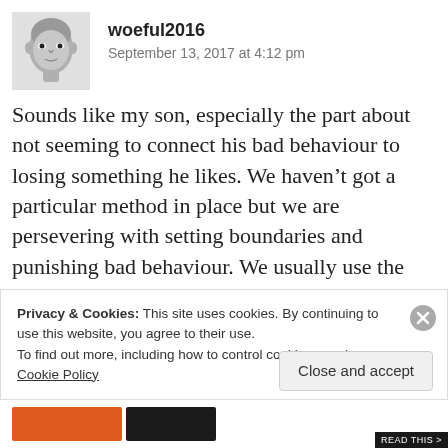[Figure (photo): Avatar photo of user woeful2016 — a black-and-white illustrated or sketch-style portrait of a person]
woeful2016
September 13, 2017 at 4:12 pm
Sounds like my son, especially the part about not seeming to connect his bad behaviour to losing something he likes. We haven't got a particular method in place but we are persevering with setting boundaries and punishing bad behaviour. We usually use the “naughty step” but have started to have to send him to his room also. Its frustrating because he definitely knows its wrong
Privacy & Cookies: This site uses cookies. By continuing to use this website, you agree to their use.
To find out more, including how to control cookies, see here: Cookie Policy
Close and accept